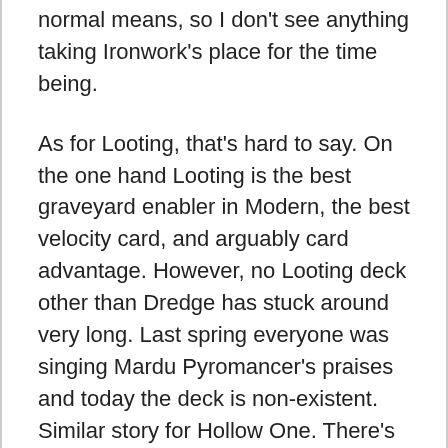normal means, so I don't see anything taking Ironwork's place for the time being.
As for Looting, that's hard to say. On the one hand Looting is the best graveyard enabler in Modern, the best velocity card, and arguably card advantage. However, no Looting deck other than Dredge has stuck around very long. Last spring everyone was singing Mardu Pyromancer's praises and today the deck is non-existent. Similar story for Hollow One. There's no reason to think that Phoenix will be any different, and so no reason to